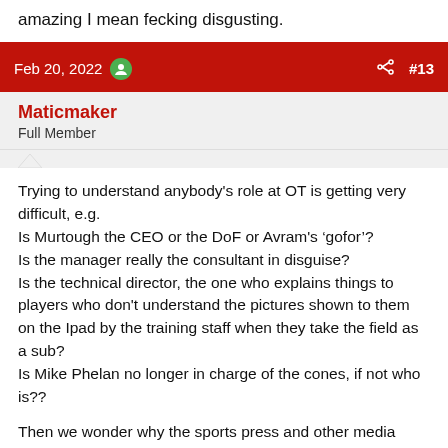amazing I mean fecking disgusting.
Feb 20, 2022  #13
Maticmaker
Full Member
Trying to understand anybody's role at OT is getting very difficult, e.g.
Is Murtough the CEO or the DoF or Avram's ‘gofor’?
Is the manager really the consultant in disguise?
Is the technical director, the one who explains things to players who don't understand the pictures shown to them on the Ipad by the training staff when they take the field as a sub?
Is Mike Phelan no longer in charge of the cones, if not who is??
Then we wonder why the sports press and other media have a